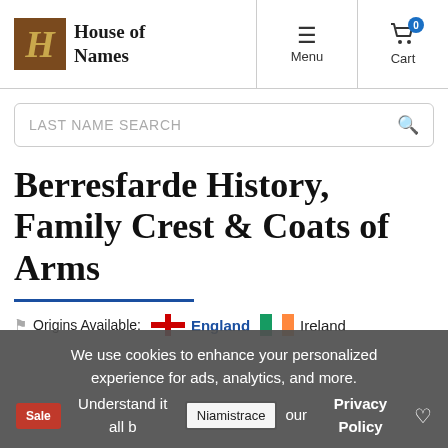House of Names — Menu | Cart (0)
LAST NAME SEARCH
Berresfarde History, Family Crest & Coats of Arms
Origins Available: England | Ireland
We use cookies to enhance your personalized experience for ads, analytics, and more. Understand it all … Privacy Policy